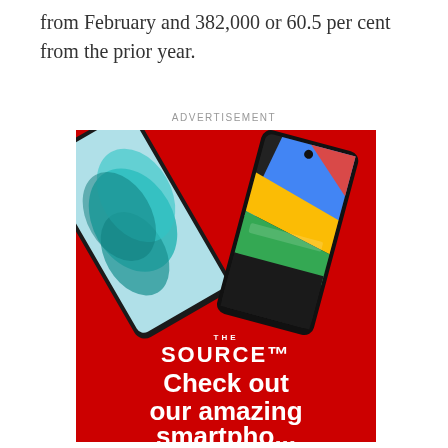from February and 382,000 or 60.5 per cent from the prior year.
ADVERTISEMENT
[Figure (photo): Advertisement for The Source showing two smartphones (Samsung Galaxy and Google Pixel) on a red background with text 'THE SOURCE Check out our amazing smartphones']